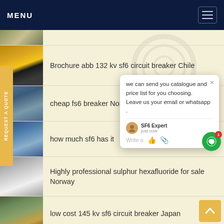MENU
Brochure abb 132 kv sf6 circuit breaker Chile
cheap fs6 breaker Nort...
how much sf6 has it...
Highly professional sulphur hexafluoride for sale Norway
low cost 145 kv sf6 circuit breaker Japan
220kv dilo sf6 multi analyser price Africa
we can send you catalogue and price list for you choosing.
Leave us your email or whatsapp .
SF6 Expert    just now
Write a
REQUEST A QUOTE